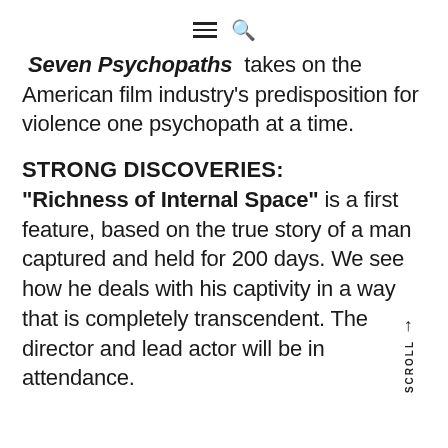[hamburger menu icon] [search icon]
"Seven Psychopaths" takes on the American film industry's predisposition for violence one psychopath at a time.
STRONG DISCOVERIES:
"Richness of Internal Space" is a first feature, based on the true story of a man captured and held for 200 days. We see how he deals with his captivity in a way that is completely transcendent. The director and lead actor will be in attendance.